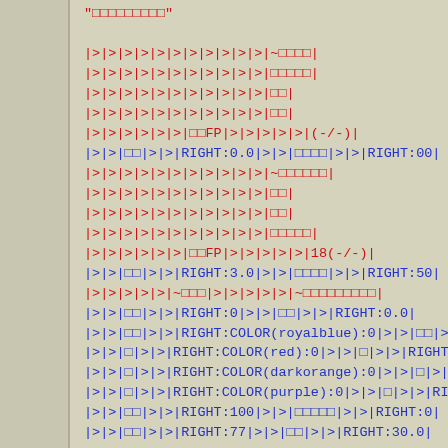Code/data listing showing wiki table markup with pipe-delimited rows containing RIGHT alignment directives and color specifications in red and blue monospace text